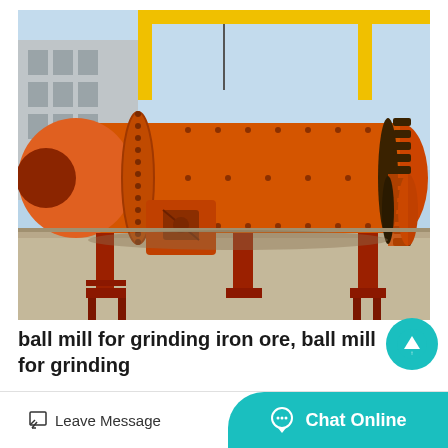[Figure (photo): Industrial orange ball mill machines for grinding iron ore lined up in a factory yard with yellow gantry cranes in the background. The large cylindrical mills are mounted on red steel supports on a concrete surface.]
ball mill for grinding iron ore, ball mill for grinding
Alibaba.com offers 3,023 ball mill for grinding iron ore products. A